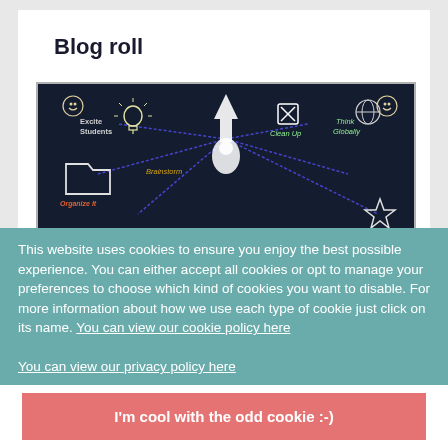Blog roll
[Figure (illustration): Chalkboard mind-map illustration showing teaching concepts: 'Excite Students', 'Brainstorm', 'Clean Up', 'Think Globally', 'Organize It', 'Energize' with a central figure and connected arrows drawn in chalk style.]
This website uses cookies to ensure you enjoy the best possible experience. You can either accept all cookies or opt to manage your preferences to choose which kind of cookies you want to disable. For more information about how we use each type of cookie just click on its name. You can view our cookie policy here
You can view our privacy policy here
Manage my preferences ▽
I'm cool with the odd cookie :-)